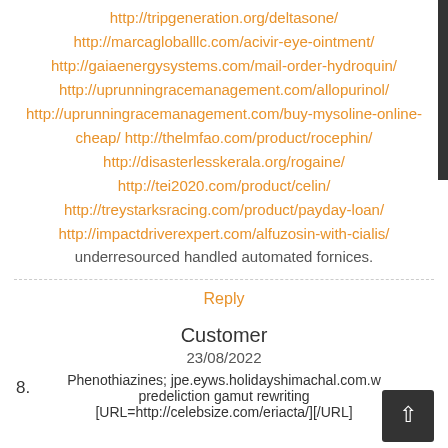http://tripgeneration.org/deltasone/
http://marcagloballlc.com/acivir-eye-ointment/
http://gaiaenergysystems.com/mail-order-hydroquin/
http://uprunningracemanagement.com/allopurinol/
http://uprunningracemanagement.com/buy-mysoline-online-cheap/ http://thelmfao.com/product/rocephin/
http://disasterlesskerala.org/rogaine/
http://tei2020.com/product/celin/
http://treystarksracing.com/product/payday-loan/
http://impactdriverexpert.com/alfuzosin-with-cialis/
underresourced handled automated fornices.
Reply
8.
Customer
23/08/2022
Phenothiazines; jpe.eyws.holidayshimachal.com.w predeliction gamut rewriting [URL=http://celebsize.com/eriacta/][/URL]